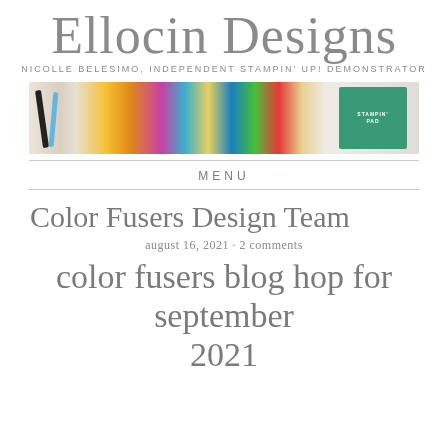Ellocin Designs
NICOLLE BELESIMO, INDEPENDENT STAMPIN' UP! DEMONSTRATOR
[Figure (photo): Header banner photo showing crafting supplies including markers, sponge daubers in bright colors (yellow, pink, teal, green, red), patterned papers, and a green Stampin' Pad on a white/light background]
MENU
Color Fusers Design Team
august 16, 2021 · 2 comments
color fusers blog hop for september 2021